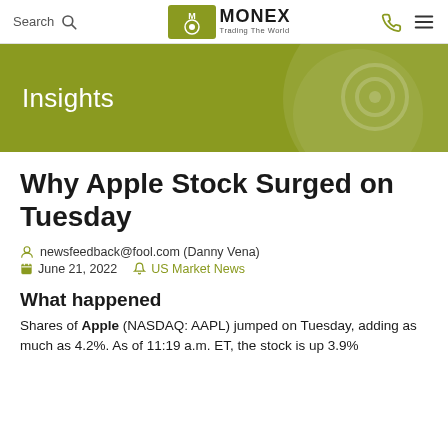Search | MONEX Trading The World
Insights
Why Apple Stock Surged on Tuesday
newsfeedback@fool.com (Danny Vena)
June 21, 2022   US Market News
What happened
Shares of Apple (NASDAQ: AAPL) jumped on Tuesday, adding as much as 4.2%. As of 11:19 a.m. ET, the stock is up 3.9%.